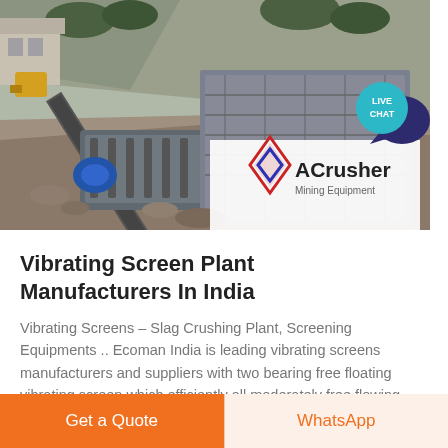[Figure (photo): Photograph of a mining/crushing plant site showing a vibrating screen machine, conveyor belt, rocky terrain, with ACrusher Mining Equipment logo overlay in the bottom right corner. A teal 'LIVE CHAT' speech bubble badge appears on the right side.]
Vibrating Screen Plant Manufacturers In India
Vibrating Screens – Slag Crushing Plant, Screening Equipments .. Ecoman India is leading vibrating screens manufacturers and suppliers with two bearing free floating vibrating screen which efficiently all moderately free flowing
Get a Quote
WhatsApp